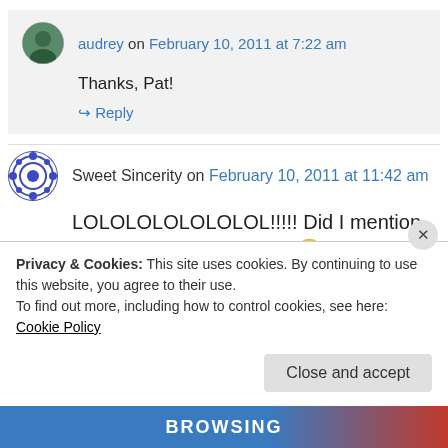audrey on February 10, 2011 at 7:22 am
Thanks, Pat!
↪ Reply
Sweet Sincerity on February 10, 2011 at 11:42 am
LOLOLOLOLOLOLOL!!!!! Did I mention that you are hilarious??? 🙁 Reading a thick book in
Privacy & Cookies: This site uses cookies. By continuing to use this website, you agree to their use. To find out more, including how to control cookies, see here: Cookie Policy
Close and accept